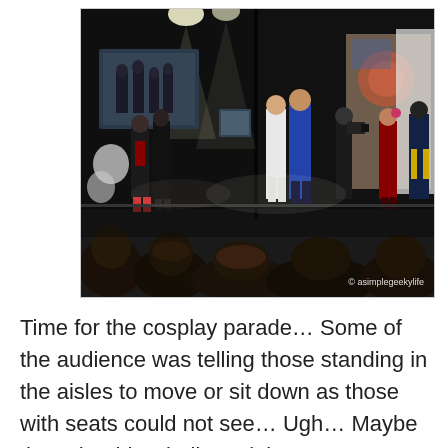[Figure (photo): A cosplay parade on a darkened stage with spotlights. Several people in various costumes stand on stage; audience silhouettes visible in the foreground. A watermark reads '© asimplegeekylife' in the bottom right corner.]
Time for the cosplay parade… Some of the audience was telling those standing in the aisles to move or sit down as those with seats could not see… Ugh… Maybe they should've built a mini stadium…